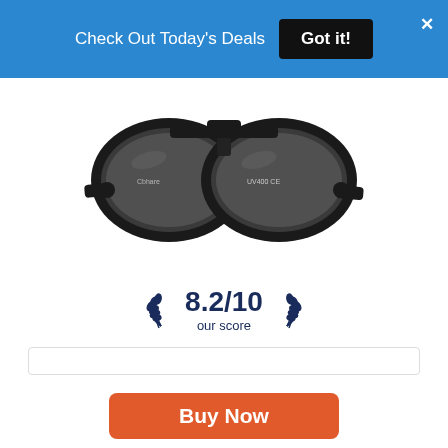Check Out Today's Deals  Got it!
[Figure (photo): Black aviator sunglasses with dark tinted lenses and thick black frames, shown from the front against a white background. Small text on the frame reads 'UV400 CE'.]
8.2/10 our score
Buy Now